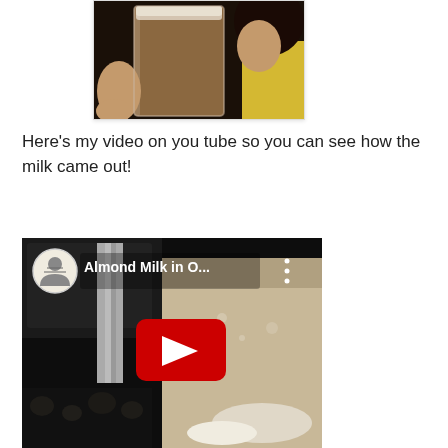[Figure (photo): A close-up photo of a person holding a glass jar filled with brownish liquid (almond milk), with the person wearing a yellow top visible in background. Photo has a light border/shadow.]
Here's my video on you tube so you can see how the milk came out!
[Figure (screenshot): A YouTube video thumbnail showing 'Almond Milk in O...' with a circular avatar icon on the left, a red YouTube play button in the center, and what appears to be almond milk being strained through a metal strainer into a dark pot. The background is dark with milky liquid visible on the right side.]